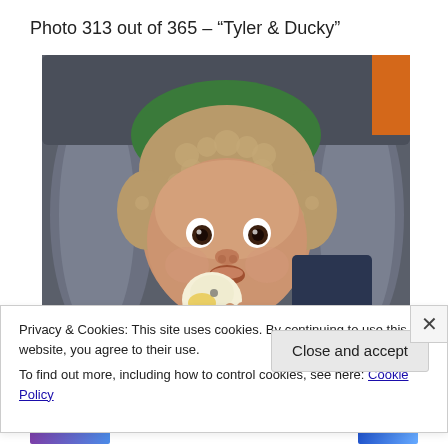Photo 313 out of 365 – “Tyler & Ducky”
[Figure (photo): A baby wearing a fuzzy brown trapper hat, sitting in a stroller/baby carrier with gray padding, holding a small yellow rubber duck plush toy close to their face. The baby has large dark eyes and is looking at the camera.]
Privacy & Cookies: This site uses cookies. By continuing to use this website, you agree to their use.
To find out more, including how to control cookies, see here: Cookie Policy
Close and accept